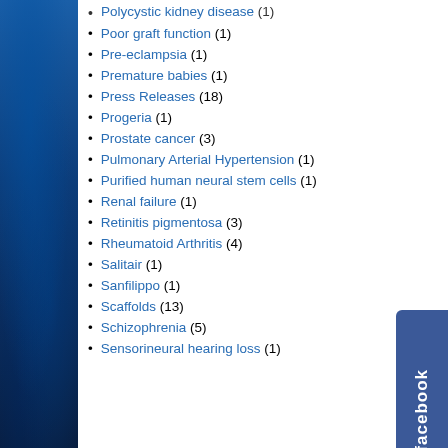Polycystic kidney disease (1)
Poor graft function (1)
Pre-eclampsia (1)
Premature babies (1)
Press Releases (18)
Progeria (1)
Prostate cancer (3)
Pulmonary Arterial Hypertension (1)
Purified human neural stem cells (1)
Renal failure (1)
Retinitis pigmentosa (3)
Rheumatoid Arthritis (4)
Salitair (1)
Sanfilippo (1)
Scaffolds (13)
Schizophrenia (5)
Sensorineural hearing loss (1)